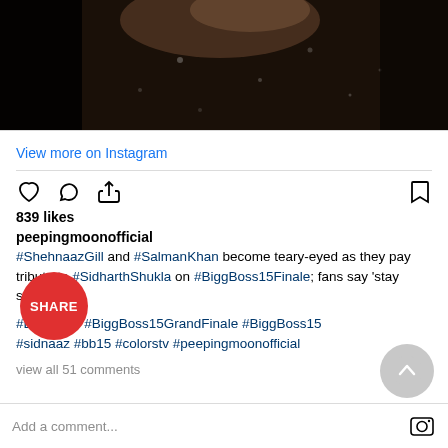[Figure (photo): Dark blurry video thumbnail showing a person in dim lighting, Instagram post screenshot]
View more on Instagram
839 likes
peepingmoonofficial
#ShehnaazGill and #SalmanKhan become teary-eyed as they pay tribute to #SidharthShukla on #BiggBoss15Finale; fans say 'stay strong'
#BiggBoss #BiggBoss15GrandFinale #BiggBoss15 #sidnaaz #bb15 #colorstv #peepingmoonofficial
view all 51 comments
Add a comment...